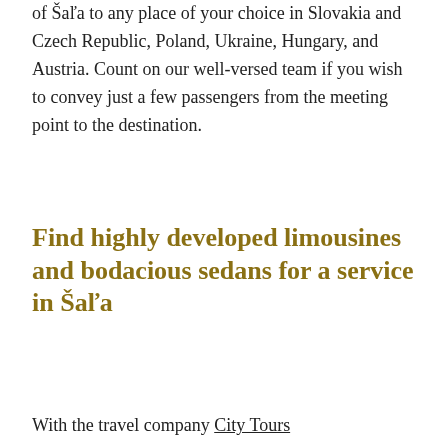of Šaľa to any place of your choice in Slovakia and Czech Republic, Poland, Ukraine, Hungary, and Austria. Count on our well-versed team if you wish to convey just a few passengers from the meeting point to the destination.
Find highly developed limousines and bodacious sedans for a service in Šaľa
With the travel company City Tours